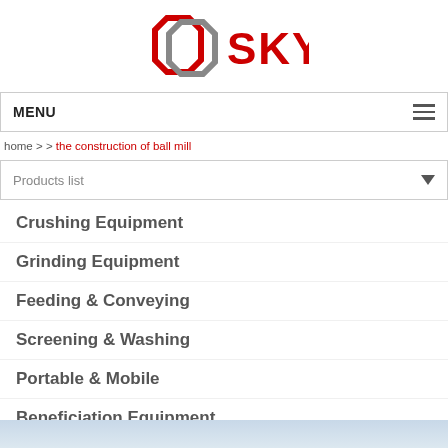[Figure (logo): GD SKY company logo with red and grey interlocking hexagon shapes and red SKY text]
MENU
home > > the construction of ball mill
Products list
Crushing Equipment
Grinding Equipment
Feeding & Conveying
Screening & Washing
Portable & Mobile
Beneficiation Equipment